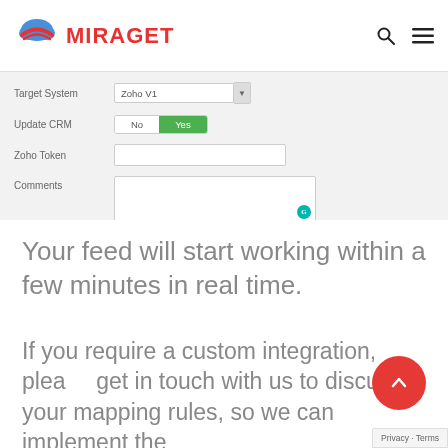MIRAGET
[Figure (screenshot): Form with fields: Target System (Zoho V1), Update CRM (No/Yes toggle with Yes selected), Zoho Token (text input), Comments (textarea with Grammarly icon)]
Your feed will start working within a few minutes in real time.
If you require a custom integration, please get in touch with us to discuss your mapping rules, so we can implement the